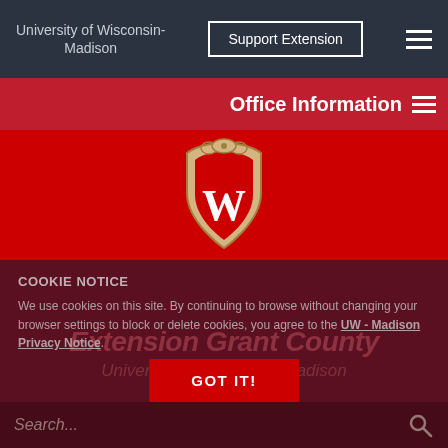University of Wisconsin-Madison
Support Extension
Office Information
[Figure (logo): University of Wisconsin-Madison shield logo with W on red background]
Extension Grant County
University of Wisconsin-Madison
COOKIE NOTICE
We use cookies on this site. By continuing to browse without changing your browser settings to block or delete cookies, you agree to the UW - Madison Privacy Notice.
GOT IT!
Search...